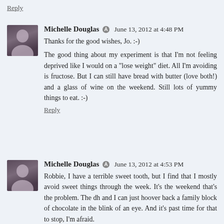Reply
Michelle Douglas   June 13, 2012 at 4:48 PM
Thanks for the good wishes, Jo. :-)
The good thing about my experiment is that I'm not feeling deprived like I would on a "lose weight" diet. All I'm avoiding is fructose. But I can still have bread with butter (love both!) and a glass of wine on the weekend. Still lots of yummy things to eat. :-)
Reply
Michelle Douglas   June 13, 2012 at 4:53 PM
Robbie, I have a terrible sweet tooth, but I find that I mostly avoid sweet things through the week. It's the weekend that's the problem. The dh and I can just hoover back a family block of chocolate in the blink of an eye. And it's past time for that to stop, I'm afraid.